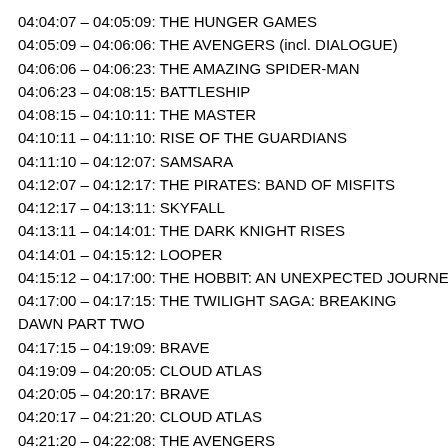04:04:07 – 04:05:09: THE HUNGER GAMES
04:05:09 – 04:06:06: THE AVENGERS (incl. DIALOGUE)
04:06:06 – 04:06:23: THE AMAZING SPIDER-MAN
04:06:23 – 04:08:15: BATTLESHIP
04:08:15 – 04:10:11: THE MASTER
04:10:11 – 04:11:10: RISE OF THE GUARDIANS
04:11:10 – 04:12:07: SAMSARA
04:12:07 – 04:12:17: THE PIRATES: BAND OF MISFITS
04:12:17 – 04:13:11: SKYFALL
04:13:11 – 04:14:01: THE DARK KNIGHT RISES
04:14:01 – 04:15:12: LOOPER
04:15:12 – 04:17:00: THE HOBBIT: AN UNEXPECTED JOURNEY
04:17:00 – 04:17:15: THE TWILIGHT SAGA: BREAKING DAWN PART TWO
04:17:15 – 04:19:09: BRAVE
04:19:09 – 04:20:05: CLOUD ATLAS
04:20:05 – 04:20:17: BRAVE
04:20:17 – 04:21:20: CLOUD ATLAS
04:21:20 – 04:22:08: THE AVENGERS
04:22:08 – 04:22:21: THE HOBBIT: AN UNEXPECTED JOURNEY